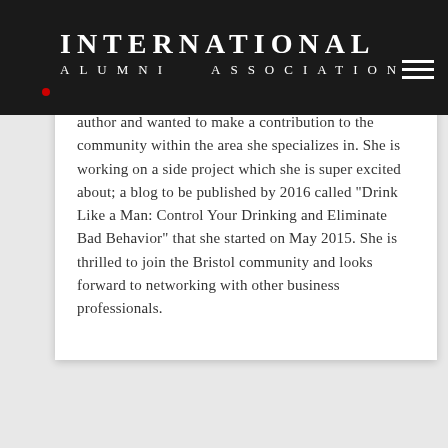INTERNATIONAL ALUMNI ASSOCIATION
author and wanted to make a contribution to the community within the area she specializes in. She is working on a side project which she is super excited about; a blog to be published by 2016 called "Drink Like a Man: Control Your Drinking and Eliminate Bad Behavior" that she started on May 2015. She is thrilled to join the Bristol community and looks forward to networking with other business professionals.